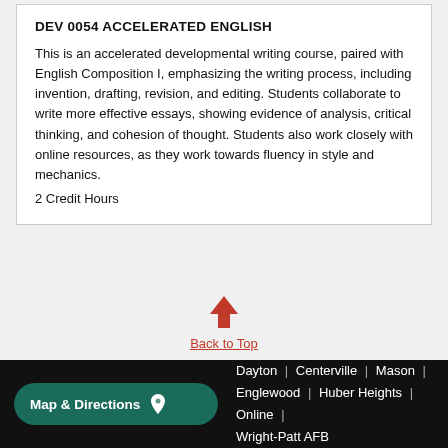DEV 0054 ACCELERATED ENGLISH
This is an accelerated developmental writing course, paired with English Composition I, emphasizing the writing process, including invention, drafting, revision, and editing. Students collaborate to write more effective essays, showing evidence of analysis, critical thinking, and cohesion of thought. Students also work closely with online resources, as they work towards fluency in style and mechanics.
2 Credit Hours
[Figure (other): Red upward-pointing arrow above 'Back to Top' link]
Map & Directions | Dayton | Centerville | Mason | Englewood | Huber Heights | Online | Wright-Patt AFB